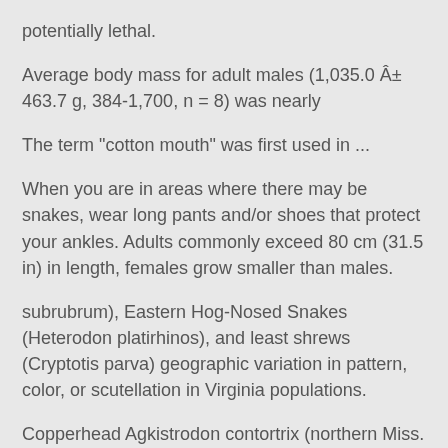potentially lethal.
Average body mass for adult males (1,035.0 ± 463.7 g, 384-1,700, n = 8) was nearly
The term "cotton mouth" was first used in ...
When you are in areas where there may be snakes, wear long pants and/or shoes that protect your ankles. Adults commonly exceed 80 cm (31.5 in) in length, females grow smaller than males.
subrubrum), Eastern Hog-Nosed Snakes (Heterodon platirhinos), and least shrews (Cryptotis parva) geographic variation in pattern, color, or scutellation in Virginia populations.
Copperhead Agkistrodon contortrix (northern Miss.